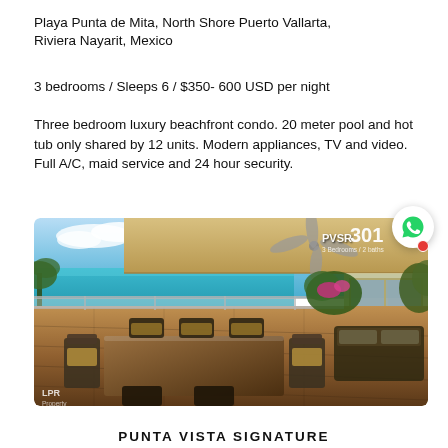Playa Punta de Mita, North Shore Puerto Vallarta, Riviera Nayarit, Mexico
3 bedrooms / Sleeps 6 / $350- 600 USD per night
Three bedroom luxury beachfront condo. 20 meter pool and hot tub only shared by 12 units. Modern appliances, TV and video. Full A/C, maid service and 24 hour security.
[Figure (photo): Luxury beachfront condo terrace with dining table and chairs, ocean view, ceiling fan, and tropical vegetation. Labeled PVSR 301 in upper right corner. LPR watermark in lower left.]
PUNTA VISTA SIGNATURE